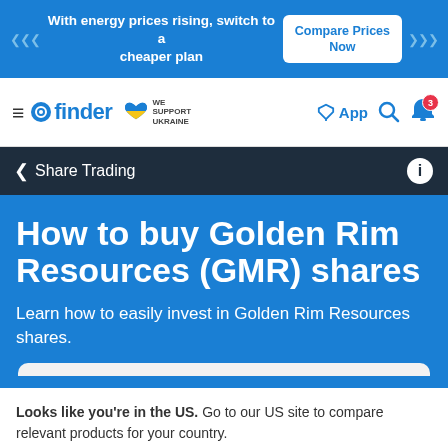[Figure (screenshot): Top ad banner with blue background showing energy price message and Compare Prices Now button]
[Figure (screenshot): Finder website navigation bar with hamburger menu, finder logo, We Support Ukraine badge, App download icon, search icon, and notification bell with badge 3]
[Figure (screenshot): Dark navy breadcrumb bar showing Share Trading navigation link and info icon]
How to buy Golden Rim Resources (GMR) shares
Learn how to easily invest in Golden Rim Resources shares.
Looks like you're in the US. Go to our US site to compare relevant products for your country.
[Figure (screenshot): Orange Go to Finder US button and No, stay on this page link]